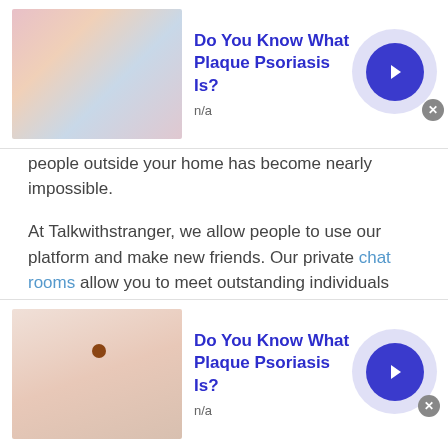[Figure (screenshot): Top advertisement banner: image of skin/hands on left, bold blue title 'Do You Know What Plaque Psoriasis Is?', 'n/a' subtext, blue circular arrow button on right, gray X close button]
people outside your home has become nearly impossible.
At Talkwithstranger, we allow people to use our platform and make new friends. Our private chat rooms allow you to meet outstanding individuals from all parts of the world which Polish Free Text much easier.
Share Knowledge
Since you meet new people from any random part of the world, it gives you a chance to expand your horizons and get to learn more about other cultures, other regions, and
[Figure (screenshot): Bottom advertisement banner: image of skin with mole/spot on left, bold blue title 'Do You Know What Plaque Psoriasis Is?', 'n/a' subtext, blue circular arrow button on right, gray X close button]